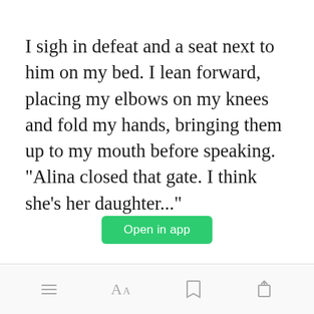I sigh in defeat and a seat next to him on my bed. I lean forward, placing my elbows on my knees and fold my hands, bringing them up to my mouth before speaking. "Alina closed that gate. I think she's her daughter..."
[Figure (other): Green 'Open in app' button]
Bottom toolbar with menu, font, bookmark, and share icons